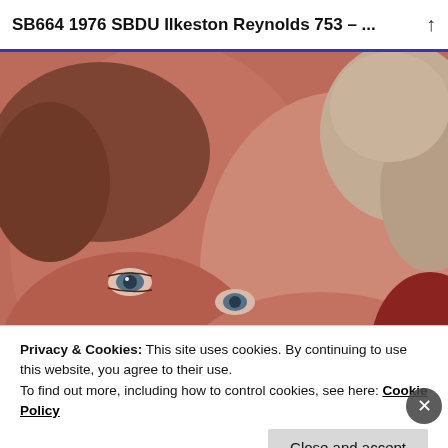SB664 1976 SBDU Ilkeston Reynolds 753 – ...
[Figure (photo): Close-up selfie of two people (a man and a woman) with blue eyes, smiling, faces close together. The man is on the left with short brown hair and stubble, the woman is on the right with lighter curly hair.]
Privacy & Cookies: This site uses cookies. By continuing to use this website, you agree to their use.
To find out more, including how to control cookies, see here: Cookie Policy
Close and accept